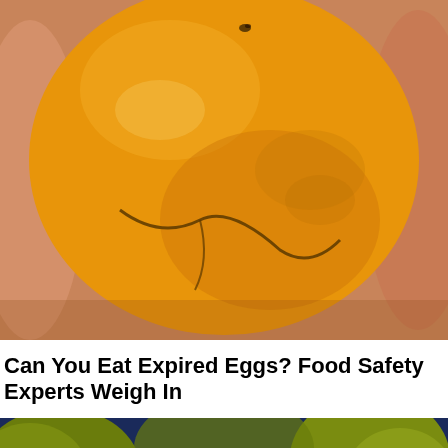[Figure (photo): Close-up photo of a cracked egg yolk being held by fingers, showing the golden-yellow yolk membrane with a crack running across it against skin-toned background.]
Can You Eat Expired Eggs? Food Safety Experts Weigh In
[Figure (screenshot): Screenshot of Spyro the Dragon video game showing the purple dragon character in a green meadow environment with blue tree trunks and yellow-green foliage. Accessibility button visible at bottom left, Google reCAPTCHA / Privacy-Terms badge at bottom right.]